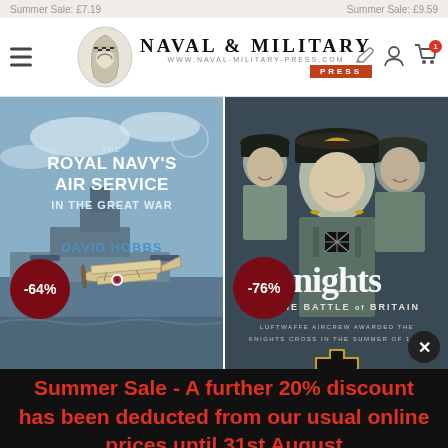Naval & Military Press — www.naval-military-press.com
Summer Sale: £7.19   Summer Sale: £9.59
[Figure (photo): Book cover: The Royal Navy's Air Service in the Great War by David Hobbs. Blue cover with biplane and warship. -64% discount badge.]
[Figure (photo): Book cover: Knights of the Battle of Britain — Luftwaffe Aircrew Awarded the Knights Cross in the Summer of 1940. Dark cover with Luftwaffe officers. -76% discount badge.]
Summer Sale - A further 20% discount has been deducted from our usual online prices until 31st August